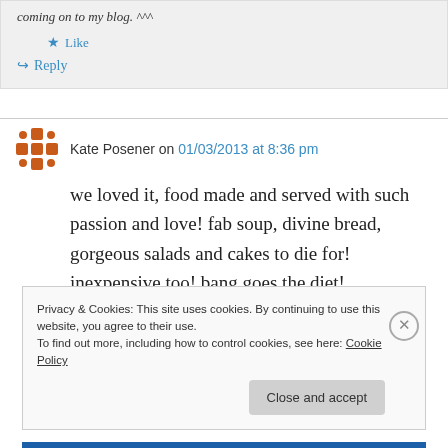coming on to my blog. ^^^
★ Like
↪ Reply
Kate Posener on 01/03/2013 at 8:36 pm
we loved it, food made and served with such passion and love! fab soup, divine bread, gorgeous salads and cakes to die for! inexpensive too! bang goes the diet!
Privacy & Cookies: This site uses cookies. By continuing to use this website, you agree to their use.
To find out more, including how to control cookies, see here: Cookie Policy
Close and accept